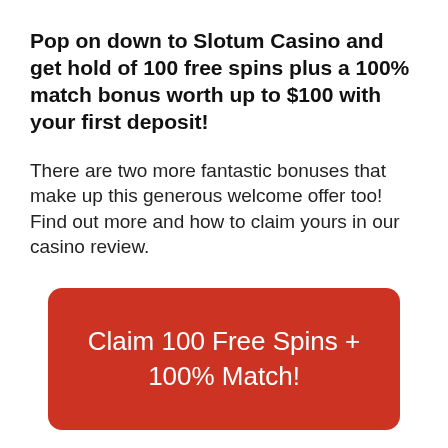Pop on down to Slotum Casino and get hold of 100 free spins plus a 100% match bonus worth up to $100 with your first deposit!
There are two more fantastic bonuses that make up this generous welcome offer too! Find out more and how to claim yours in our casino review.
[Figure (other): Red rounded rectangle button with white text reading 'Claim 100 Free Spins + 100% Match!']